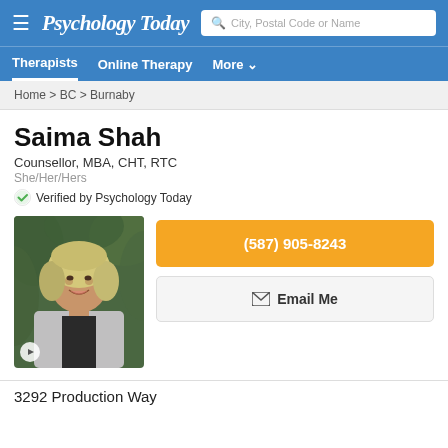Psychology Today
Therapists  Online Therapy  More
Home > BC > Burnaby
Saima Shah
Counsellor, MBA, CHT, RTC
She/Her/Hers
Verified by Psychology Today
[Figure (photo): Profile photo of Saima Shah, a woman with blonde and grey hair, smiling, wearing a black top and grey blazer, with green foliage background]
(587) 905-8243
Email Me
3292 Production Way